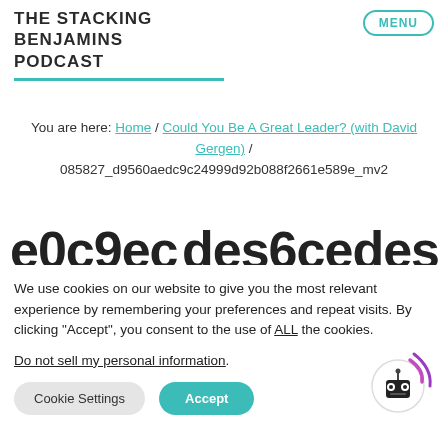THE STACKING BENJAMINS PODCAST
You are here: Home / Could You Be A Great Leader? (with David Gergen) / 085827_d9560aedc9c24999d92b088f2661e589e_mv2
e0c9oc des6cades (large partially visible text)
We use cookies on our website to give you the most relevant experience by remembering your preferences and repeat visits. By clicking "Accept", you consent to the use of ALL the cookies.
Do not sell my personal information.
Cookie Settings  Accept